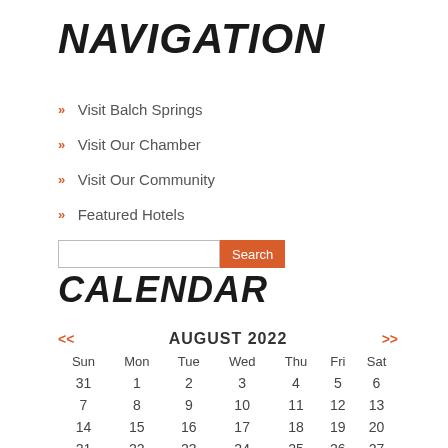NAVIGATION
Visit Balch Springs
Visit Our Chamber
Visit Our Community
Featured Hotels
CALENDAR
| Sun | Mon | Tue | Wed | Thu | Fri | Sat |
| --- | --- | --- | --- | --- | --- | --- |
| 31 | 1 | 2 | 3 | 4 | 5 | 6 |
| 7 | 8 | 9 | 10 | 11 | 12 | 13 |
| 14 | 15 | 16 | 17 | 18 | 19 | 20 |
| 21 | 22 | 23 | 24 | 25 | 26 | 27 |
| 28 | 29 | 30 | 31 | 1 | 2 | 3 |